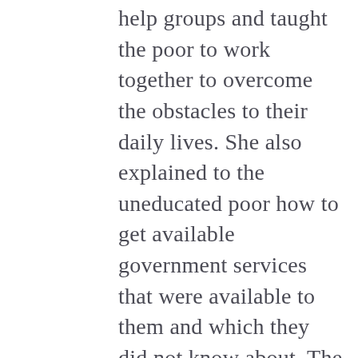help groups and taught the poor to work together to overcome the obstacles to their daily lives. She also explained to the uneducated poor how to get available government services that were available to them and which they did not know about. The poor people of the area began calling her “Rani of Indore—the Queen of Indore.” But the money lenders and others who preyed on the downtrodden decided Sister had to be